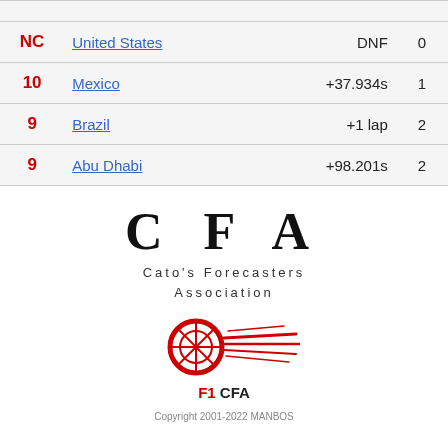| Pos | Country |  | Gap | Pts |
| --- | --- | --- | --- | --- |
| NC | United States |  | DNF | 0 |
| 10 | Mexico |  | +37.934s | 1 |
| 9 | Brazil |  | +1 lap | 2 |
| 9 | Abu Dhabi |  | +98.201s | 2 |
[Figure (logo): CFA - Cato's Forecasters Association logo with large bold letters C F A, subtitle text 'Cato's Forecasters Association', and an F1 CFA emblem with a tire-and-speed-lines graphic in red and black.]
Copyright 2001-2022 MANBOS